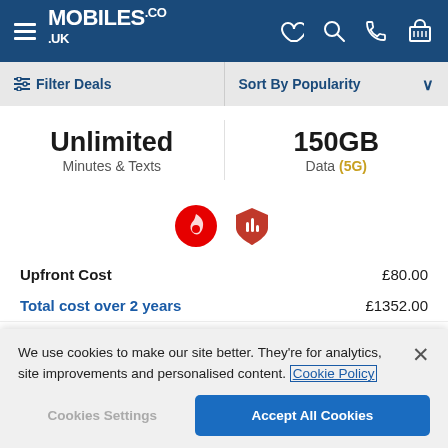[Figure (screenshot): Mobiles.co.uk website header with logo and navigation icons (heart, search, phone, basket)]
≡ Filter Deals   Sort By Popularity ∨
Unlimited Minutes & Texts
150GB Data (5G)
[Figure (logo): Vodafone logo and another red shield carrier logo]
Upfront Cost £80.00
Total cost over 2 years £1352.00
BUY NOW
We use cookies to make our site better. They're for analytics, site improvements and personalised content. Cookie Policy
Cookies Settings
Accept All Cookies